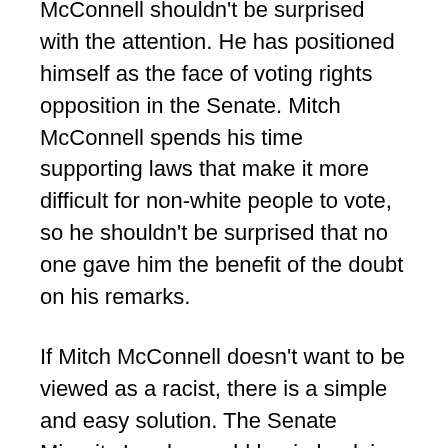McConnell shouldn't be surprised with the attention. He has positioned himself as the face of voting rights opposition in the Senate. Mitch McConnell spends his time supporting laws that make it more difficult for non-white people to vote, so he shouldn't be surprised that no one gave him the benefit of the doubt on his remarks.
If Mitch McConnell doesn't want to be viewed as a racist, there is a simple and easy solution. The Senate Minority Leader could begin by doing what he did in 2006, McConnell could support the John Lewis Voting Rights Act.
It is difficult for anyone to believe McConnell's claims that he is not a racist when he has changed his position on supporting the reauthorization of the Voting Rights Act.
McConnell's hurt feelings don't mean anything when compared to the millions upon millions of Americans who